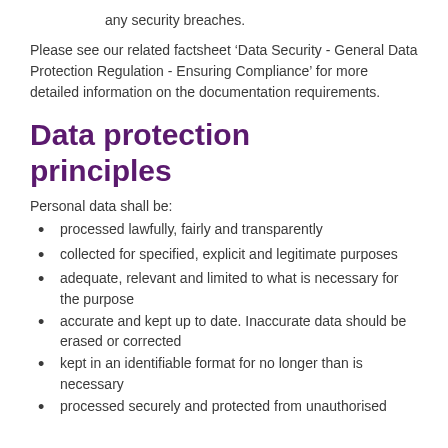any security breaches.
Please see our related factsheet ‘Data Security - General Data Protection Regulation - Ensuring Compliance’ for more detailed information on the documentation requirements.
Data protection principles
Personal data shall be:
processed lawfully, fairly and transparently
collected for specified, explicit and legitimate purposes
adequate, relevant and limited to what is necessary for the purpose
accurate and kept up to date. Inaccurate data should be erased or corrected
kept in an identifiable format for no longer than is necessary
processed securely and protected from unauthorised